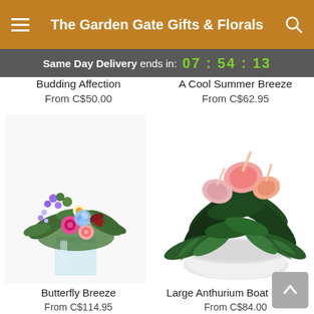The Garden Gate Gifts & Florals
Same Day Delivery ends in: 07 : 54 : 13
Budding Affection
From C$50.00
A Cool Summer Breeze
From C$62.95
[Figure (photo): Butterfly Breeze flower arrangement in a glass vase with pink roses, blue hydrangea, purple flowers, and greenery]
[Figure (photo): Large Anthurium Boat Planter with red/pink anthurium flowers and large tropical green leaves in a white bowl]
Butterfly Breeze
From C$114.95
Large Anthurium Boat Planter
From C$84.00